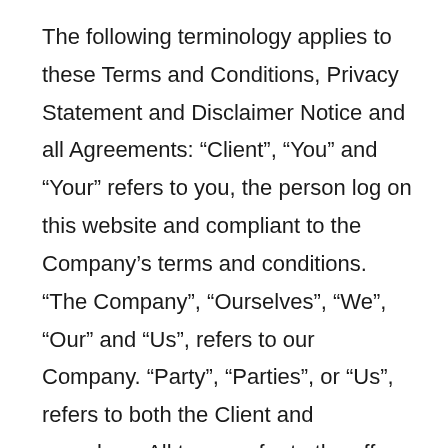The following terminology applies to these Terms and Conditions, Privacy Statement and Disclaimer Notice and all Agreements: “Client”, “You” and “Your” refers to you, the person log on this website and compliant to the Company’s terms and conditions. “The Company”, “Ourselves”, “We”, “Our” and “Us”, refers to our Company. “Party”, “Parties”, or “Us”, refers to both the Client and ourselves. All terms refer to the offer, acceptance and consideration of payment necessary to undertake the process of our assistance to the Client in the most appropriate manner for the express purpose of meeting the Client’s needs in respect of provision of the Company’s stated services, in accordance with and subject to, prevailing law of Netherlands. Any use of the above terminology or other words in the singular, plural, capitalisation and/or he/she or they, are considered